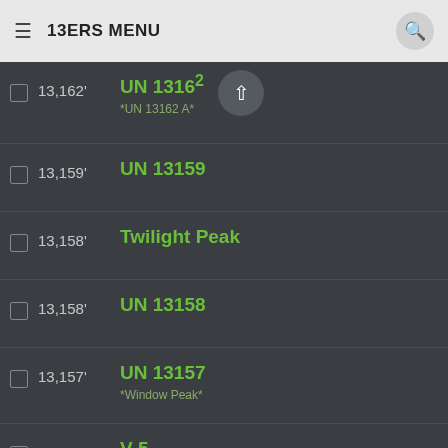13ERS MENU
13,162' UN 13162 *UN 13162 A*
13,159' UN 13159
13,158' Twilight Peak
13,158' UN 13158
13,157' UN 13157 *Window Peak*
13,156' V 5
13,155' UN 13155
13,150' Montezuma Peak
13,148' South River Peak
13,145' UN 13145 *Jackass Point*
13,144' Precipice Peak